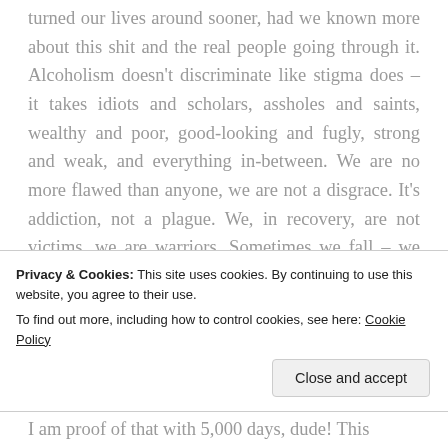turned our lives around sooner, had we known more about this shit and the real people going through it. Alcoholism doesn't discriminate like stigma does – it takes idiots and scholars, assholes and saints, wealthy and poor, good-looking and fugly, strong and weak, and everything in-between. We are no more flawed than anyone, we are not a disgrace. It's addiction, not a plague. We, in recovery, are not victims, we are warriors. Sometimes we fall – we get right back up. We are brave and amazing
Privacy & Cookies: This site uses cookies. By continuing to use this website, you agree to their use.
To find out more, including how to control cookies, see here: Cookie Policy
I am proof of that with 5,000 days, dude! This